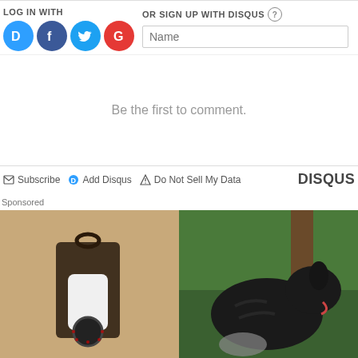LOG IN WITH
[Figure (other): Social login icons: Disqus (blue D), Facebook (dark blue F), Twitter (light blue bird), Google (red G)]
OR SIGN UP WITH DISQUS ?
Name
Be the first to comment.
Subscribe  Add Disqus  Do Not Sell My Data  DISQUS
Sponsored
[Figure (photo): Security camera installed in an outdoor wall lantern fixture mounted on a stucco wall]
[Figure (photo): Large black dog (Cane Corso) standing outdoors near trees and rocks]